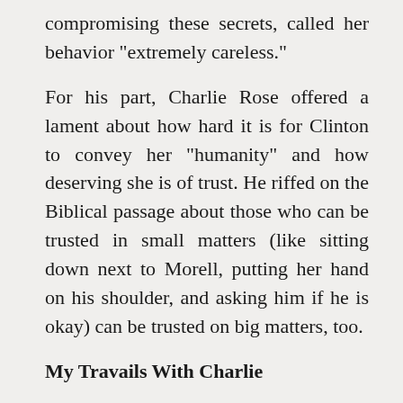compromising these secrets, called her behavior “extremely careless.”
For his part, Charlie Rose offered a lament about how hard it is for Clinton to convey her “humanity” and how deserving she is of trust. He riffed on the Biblical passage about those who can be trusted in small matters (like sitting down next to Morell, putting her hand on his shoulder, and asking him if he is okay) can be trusted on big matters, too.
My Travails With Charlie
Twelve years ago, I was interviewed by Charlie Rose, with the other interviewee (who participated remotely) James Woolsey, former head of the CIA (1993-95), arch-neocon, and self-described “anchor the Presbyterian wing of JINSA” (the Jewish Institute for National Security Affairs).